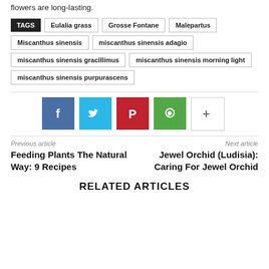flowers are long-lasting.
TAGS: Eulalia grass | Grosse Fontane | Malepartus | Miscanthus sinensis | miscanthus sinensis adagio | miscanthus sinensis gracillimus | miscanthus sinensis morning light | miscanthus sinensis purpurascens
[Figure (infographic): Social sharing buttons: Facebook (blue), Twitter (light blue), Pinterest (red), WhatsApp (green), More (+) (white/grey border)]
Previous article
Feeding Plants The Natural Way: 9 Recipes
Next article
Jewel Orchid (Ludisia): Caring For Jewel Orchid
RELATED ARTICLES